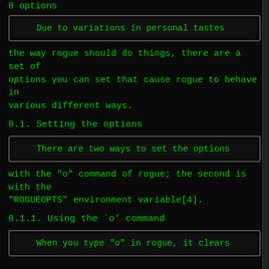8 options
[Figure (screenshot): Code box showing: Due to variations in personal tastes]
the way rogue should do things, there are a set of options you can set that cause rogue to behave in various different ways.
8.1. Setting the options
[Figure (screenshot): Code box showing: There are two ways to set the options]
with the "o" command of rogue; the second is with the "ROGUEOPTS" environment variable[4].
8.1.1. Using the `o' command
[Figure (screenshot): Code box showing: When you type "o" in rogue, it clears]